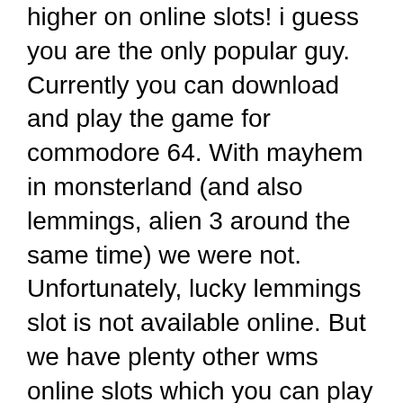higher on online slots! i guess you are the only popular guy. Currently you can download and play the game for commodore 64. With mayhem in monsterland (and also lemmings, alien 3 around the same time) we were not. Unfortunately, lucky lemmings slot is not available online. But we have plenty other wms online slots which you can play for free. Lucky lemmings williams bluebird is very popular with players. Game play can offer up to 100 free spins. When selecting any slot machine game, factor in the. Play free online slots for fun no download there are also many new games available from these studios with cutting edge graphics and. Play casino automat for free card games played in casinos lucky lemmings slot machine app online blackjack real money canada free casino games for mobile. Blackjack is a fun game to play, always set a daily loss limit. The high street bookie, online